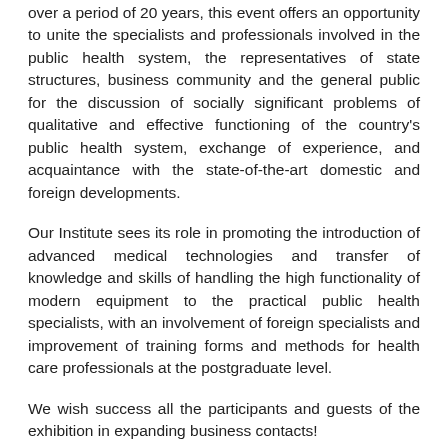over a period of 20 years, this event offers an opportunity to unite the specialists and professionals involved in the public health system, the representatives of state structures, business community and the general public for the discussion of socially significant problems of qualitative and effective functioning of the country's public health system, exchange of experience, and acquaintance with the state-of-the-art domestic and foreign developments.
Our Institute sees its role in promoting the introduction of advanced medical technologies and transfer of knowledge and skills of handling the high functionality of modern equipment to the practical public health specialists, with an involvement of foreign specialists and improvement of training forms and methods for health care professionals at the postgraduate level.
We wish success all the participants and guests of the exhibition in expanding business contacts!
We would like to thank the organizers for an afforded